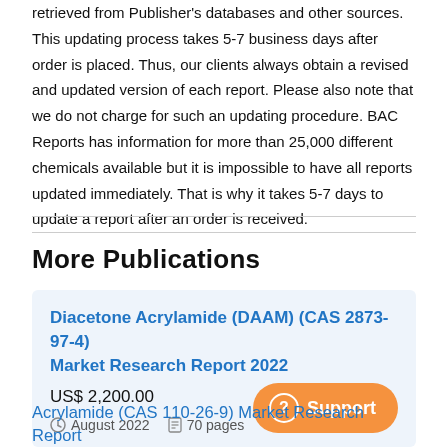retrieved from Publisher's databases and other sources. This updating process takes 5-7 business days after order is placed. Thus, our clients always obtain a revised and updated version of each report. Please also note that we do not charge for such an updating procedure. BAC Reports has information for more than 25,000 different chemicals available but it is impossible to have all reports updated immediately. That is why it takes 5-7 days to update a report after an order is received.
More Publications
Diacetone Acrylamide (DAAM) (CAS 2873-97-4) Market Research Report 2022
US$ 2,200.00
August 2022   70 pages
Acrylamide (CAS 110-26-9) Market Research Report